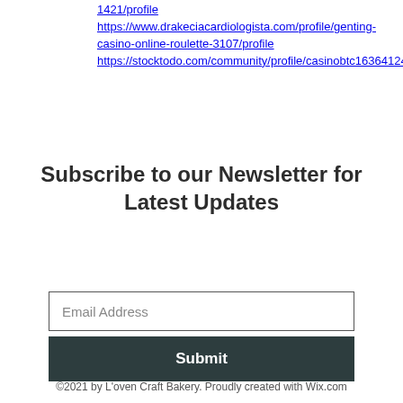1421/profile https://www.drakeciacardiologista.com/profile/genting-casino-online-roulette-3107/profile https://stocktodo.com/community/profile/casinobtc16364124/
Subscribe to our Newsletter for Latest Updates
Email Address
Submit
©2021 by L'oven Craft Bakery. Proudly created with Wix.com